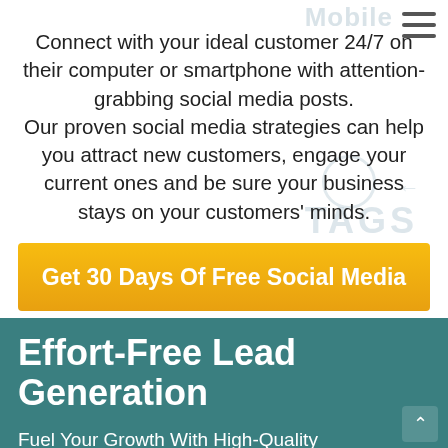Connect with your ideal customer 24/7 on their computer or smartphone with attention-grabbing social media posts. Our proven social media strategies can help you attract new customers, engage your current ones and be sure your business stays on your customers' minds.
Get 30 Days Of Free Social Media
Effort-Free Lead Generation
Fuel Your Growth With High-Quality